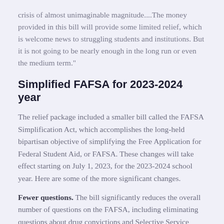crisis of almost unimaginable magnitude....The money provided in this bill will provide some limited relief, which is welcome news to struggling students and institutions. But it is not going to be nearly enough in the long run or even the medium term."
Simplified FAFSA for 2023-2024 year
The relief package included a smaller bill called the FAFSA Simplification Act, which accomplishes the long-held bipartisan objective of simplifying the Free Application for Federal Student Aid, or FAFSA. These changes will take effect starting on July 1, 2023, for the 2023-2024 school year. Here are some of the more significant changes.
Fewer questions. The bill significantly reduces the overall number of questions on the FAFSA, including eliminating questions about drug convictions and Selective Service status.